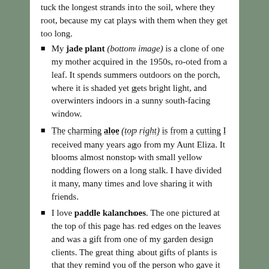tuck the longest strands into the soil, where they root, because my cat plays with them when they get too long.
My jade plant (bottom image) is a clone of one my mother acquired in the 1950s, ro-oted from a leaf. It spends summers outdoors on the porch, where it is shaded yet gets bright light, and overwinters indoors in a sunny south-facing window.
The charming aloe (top right) is from a cutting I received many years ago from my Aunt Eliza. It blooms almost nonstop with small yellow nodding flowers on a long stalk. I have divided it many, many times and love sharing it with friends.
I love paddle kalanchoes. The one pictured at the top of this page has red edges on the leaves and was a gift from one of my garden design clients. The great thing about gifts of plants is that they remind you of the person who gave it to you!
Succulents are so easy to grow. Just plant yours in sandy soil if it didn't come that way (see rough proportions